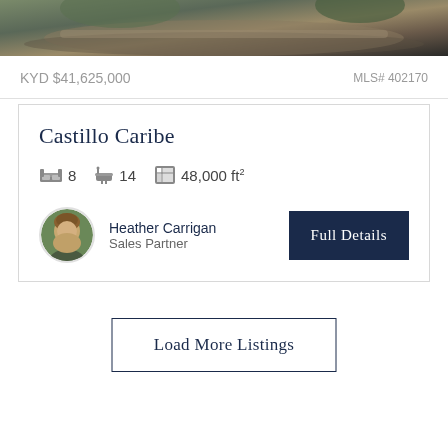[Figure (photo): Aerial or waterfront property photo showing stone/rock landscaping and water]
KYD $41,625,000
MLS# 402170
Castillo Caribe
8 bedrooms  14 bathrooms  48,000 ft²
[Figure (photo): Circular headshot of agent Heather Carrigan]
Heather Carrigan
Sales Partner
Full Details
Load More Listings